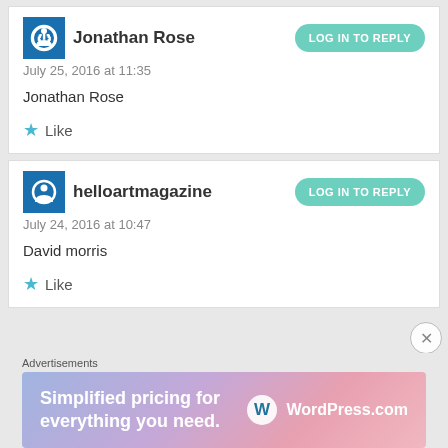Jonathan Rose
July 25, 2016 at 11:35
Jonathan Rose
Like
helloartmagazine
July 24, 2016 at 10:47
David morris
Like
Advertisements
[Figure (infographic): WordPress.com advertisement banner with text 'Simplified pricing for everything you need.' and WordPress.com logo on gradient purple-pink background]